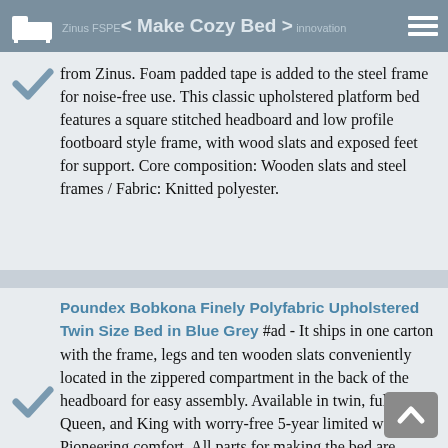Zinus FSPE < Make Cozy Bed > innovation
from Zinus. Foam padded tape is added to the steel frame for noise-free use. This classic upholstered platform bed features a square stitched headboard and low profile footboard style frame, with wood slats and exposed feet for support. Core composition: Wooden slats and steel frames / Fabric: Knitted polyester.
Poundex Bobkona Finely Polyfabric Upholstered Twin Size Bed in Blue Grey #ad - It ships in one carton with the frame, legs and ten wooden slats conveniently located in the zippered compartment in the back of the headboard for easy assembly. Available in twin, full, Queen, and King with worry-free 5-year limited warranty. Pioneering comfort. All parts for making the bed are located in the zippered compartment on the back of the headboard for easy assembly / 10 wood slats and